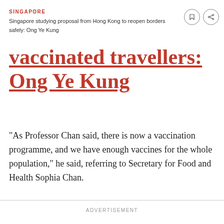SINGAPORE
Singapore studying proposal from Hong Kong to reopen borders safely: Ong Ye Kung
vaccinated travellers: Ong Ye Kung
“As Professor Chan said, there is now a vaccination programme, and we have enough vaccines for the whole population,” he said, referring to Secretary for Food and Health Sophia Chan.
ADVERTISEMENT